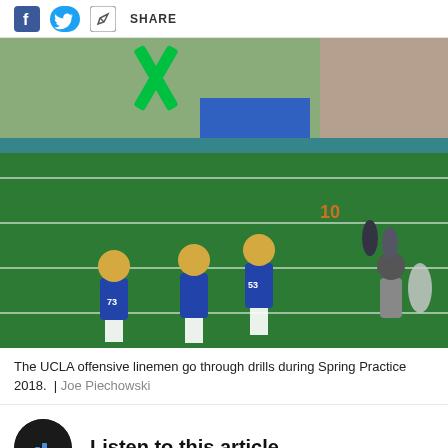SHARE
[Figure (photo): UCLA offensive linemen in blue jerseys and gold helmets going through blocking drills on a green football field during Spring Practice 2018. Players with jersey numbers 73, 53 visible. Spectators and coaches stand in the background near blue equipment and a building.]
The UCLA offensive linemen go through drills during Spring Practice 2018.  |  Joe Piechowski
Listen to this article